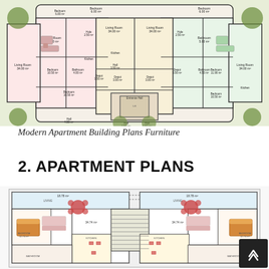[Figure (engineering-diagram): Color-coded floor plan of a modern apartment building showing multiple units with labeled rooms including Living Room (34.00 m²), Bedrooms, Kitchens, Bathrooms, Depots, Halls, Holes, Entrance Hall, and a Lift. Rooms are color-coded in pink, green, and white. The plan shows symmetric left and right apartment units.]
Modern Apartment Building Plans Furniture
2. APARTMENT PLANS
[Figure (engineering-diagram): Detailed floor plan of apartment units showing two mirrored units with rooms labeled including Living, Bedroom (12.74 m²), kitchen/dining area (34.74 m²), and additional spaces. Rooms shown with furniture layouts in pink and tan colors. Staircase visible in center.]